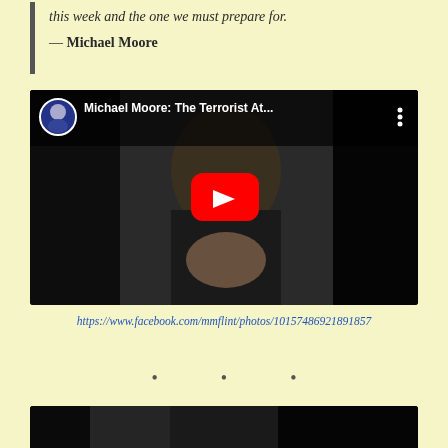this week and the one we must prepare for.
— Michael Moore
[Figure (screenshot): YouTube video thumbnail showing Michael Moore titled 'Michael Moore: The Terrorist At...' with a red play button overlay]
https://www.facebook.com/mmflint/photos/10157486921891857
• • •